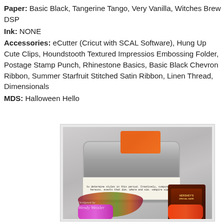Paper: Basic Black, Tangerine Tango, Very Vanilla, Witches Brew DSP
Ink: NONE
Accessories: eCutter (Cricut with SCAL Software), Hung Up Cute Clips, Houndstooth Textured Impressios Embossing Folder, Postage Stamp Punch, Rhinestone Basics, Basic Black Chevron Ribbon, Summer Starfruit Stitched Satin Ribbon, Linen Thread, Dimensionals
MDS: Halloween Hello
[Figure (photo): A decorative Halloween tin box with chevron orange and white tag reading 'eat if you DARE!', wrapped with multi-colored ribbons (green, orange, dark red), Hershey's Special Dark chocolate bar, and wrapped candy pieces. Watermark reads 'Designed by Wendy Weixler'.]